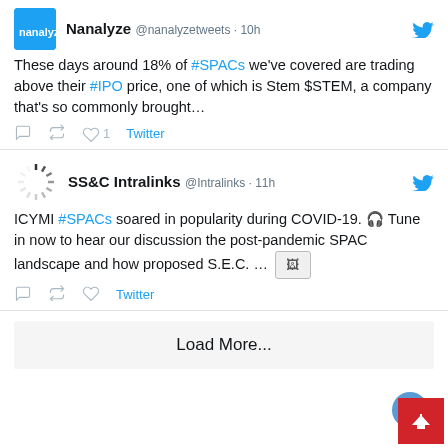Nanalyze @nanalyzetweets · 10h
These days around 18% of #SPACs we've covered are trading above their #IPO price, one of which is Stem $STEM, a company that's so commonly brought…
♡1 Twitter
SS&C Intralinks @Intralinks · 11h
ICYMI #SPACs soared in popularity during COVID-19. 🎧 Tune in now to hear our discussion the post-pandemic SPAC landscape and how proposed S.E.C. … [image]
Twitter
Load More...